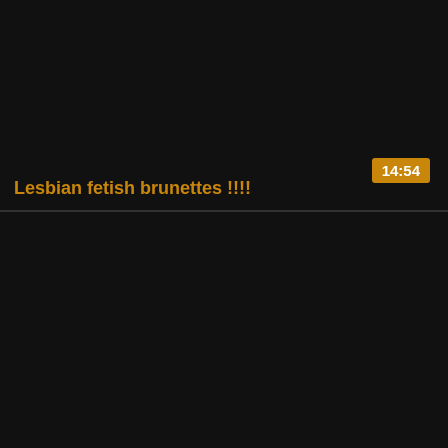[Figure (screenshot): Dark video thumbnail card with golden/amber duration badge showing 14:54 in upper right area, and golden text title below the thumbnail area.]
14:54
Lesbian fetish brunettes !!!!
[Figure (screenshot): Second dark video thumbnail card, entirely dark/black with no visible content.]